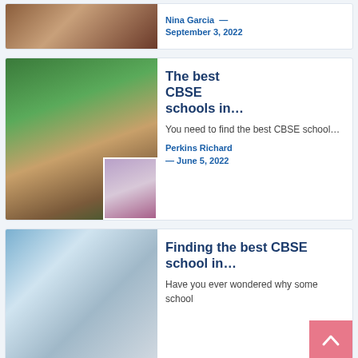[Figure (photo): Partial view of a classroom photo card — top card, only bottom portion visible showing a student with papers.]
Nina Garcia — September 3, 2022
[Figure (photo): Students in a classroom raising their hands toward a chalkboard; a girl with braids visible from behind. Inset avatar of an older woman smiling in a red jacket.]
The best CBSE schools in…
You need to find the best CBSE school…
Perkins Richard — June 5, 2022
[Figure (photo): A young Asian woman smiling, holding a folder, in a school hallway with students in the background.]
Finding the best CBSE school in…
Have you ever wondered why some school